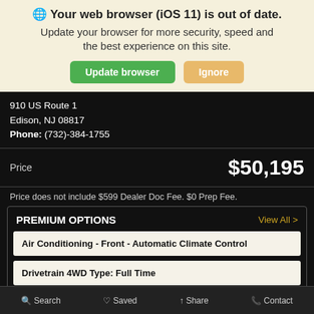🌐 Your web browser (iOS 11) is out of date. Update your browser for more security, speed and the best experience on this site.
Update browser | Ignore
910 US Route 1
Edison, NJ 08817
Phone: (732)-384-1755
Price    $50,195
Price does not include $599 Dealer Doc Fee. $0 Prep Fee.
PREMIUM OPTIONS
View All >
Air Conditioning - Front - Automatic Climate Control
Drivetrain 4WD Type: Full Time
Search   Saved   Share   Contact